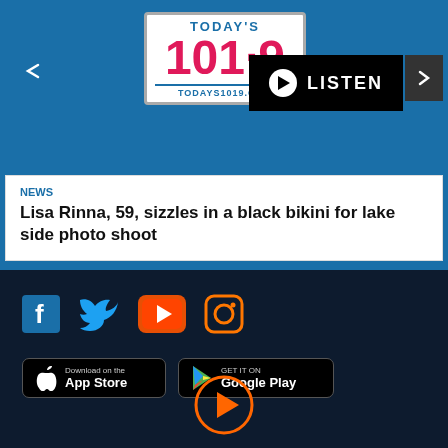[Figure (logo): Today's 101.9 radio station logo with text TODAYS1019.COM]
[Figure (other): LISTEN button with play icon and dropdown chevron]
NEWS
Lisa Rinna, 59, sizzles in a black bikini for lake side photo shoot
© 2022 Audacy, Inc. ALL RIGHTS RESERVED. PART OF AUDACY MUSIC.
[Figure (other): Social media icons: Facebook, Twitter, YouTube, Instagram]
[Figure (other): App Store and Google Play download badges]
[Figure (other): Circular play button with orange border]